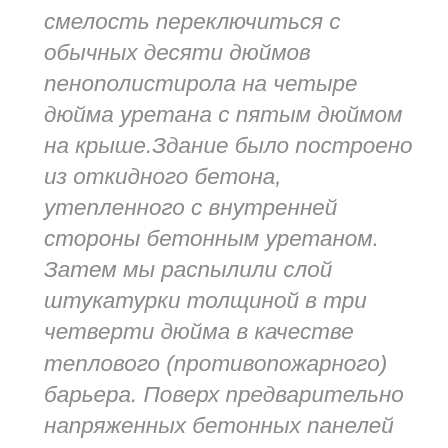смелость переключиться с обычных десяти дюймов пенополистирола на четыре дюйма уретана с пятым дюймом на крыше.Здание было построено из откидного бетона, утепленного с внутренней стороны бетонным уретаном. Затем мы распылили слой штукатурки толщиной в три четверти дюйма в качестве теплового (противопожарного) барьера. Поверх предварительно напряженных бетонных панелей крыши мы нанесли пять дюймов распыляемого уретана, а затем, следуя спецификациям